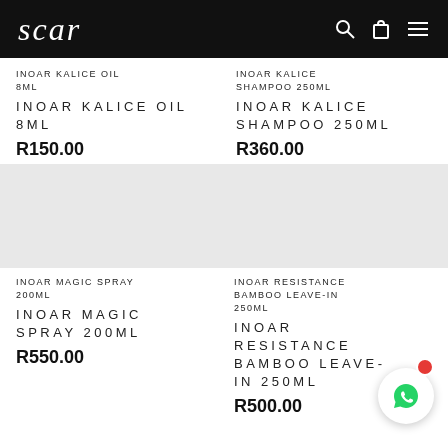scar
INOAR KALICE OIL 8ML
INOAR KALICE OIL 8ML
R150.00
INOAR KALICE SHAMPOO 250ML
INOAR KALICE SHAMPOO 250ML
R360.00
[Figure (photo): Product image placeholder for INOAR MAGIC SPRAY 200ML]
[Figure (photo): Product image placeholder for INOAR RESISTANCE BAMBOO LEAVE-IN 250ML]
INOAR MAGIC SPRAY 200ML
INOAR MAGIC SPRAY 200ML
R550.00
INOAR RESISTANCE BAMBOO LEAVE-IN 250ML
INOAR RESISTANCE BAMBOO LEAVE-IN 250ML
R500.00